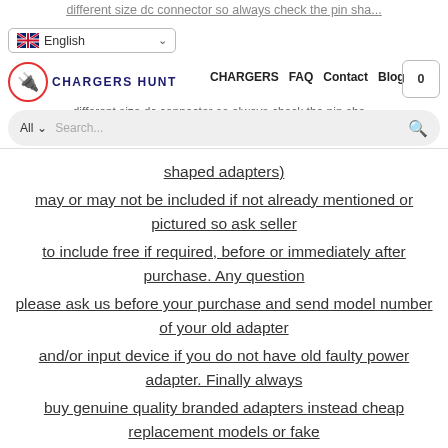CHARGERS HUNT — CHARGERS | FAQ | Contact | Blog | [cart: 0]
shaped adapters) may or may not be included if not already mentioned or pictured so ask seller to include free if required, before or immediately after purchase. Any question please ask us before your purchase and send model number of your old adapter and/or input device if you do not have old faulty power adapter. Finally always buy genuine quality branded adapters instead cheap replacement models or fake versions which do not last very long and could be safety hazard too.